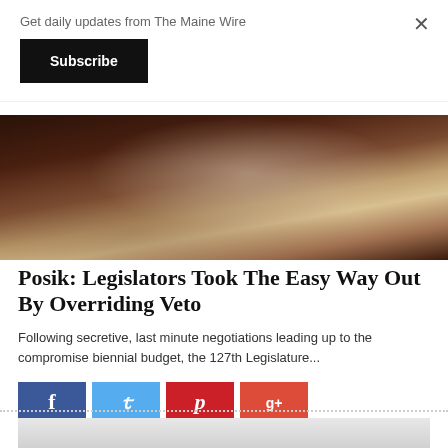Get daily updates from The Maine Wire
Subscribe
[Figure (photo): A person in a dark pinstripe suit sitting at a table with a glass of water, photographed in a formal indoor setting with dark wood paneling.]
Posik: Legislators Took The Easy Way Out By Overriding Veto
Following secretive, last minute negotiations leading up to the compromise biennial budget, the 127th Legislature...
[Figure (photo): Partial view of a second article image showing a light grey background with what appears to be a building or monument.]